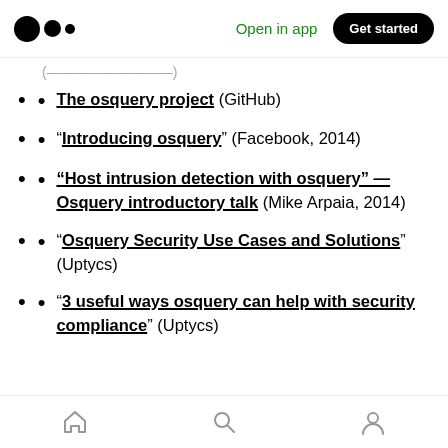Medium — Open in app | Get started
(continued...)
The osquery project (GitHub)
“Introducing osquery” (Facebook, 2014)
“Host intrusion detection with osquery” — Osquery introductory talk (Mike Arpaia, 2014)
“Osquery Security Use Cases and Solutions” (Uptycs)
“3 useful ways osquery can help with security compliance” (Uptycs)
Home | Search | Profile